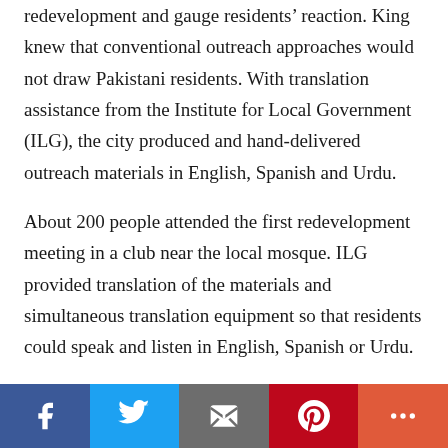redevelopment and gauge residents' reaction. King knew that conventional outreach approaches would not draw Pakistani residents. With translation assistance from the Institute for Local Government (ILG), the city produced and hand-delivered outreach materials in English, Spanish and Urdu.
About 200 people attended the first redevelopment meeting in a club near the local mosque. ILG provided translation of the materials and simultaneous translation equipment so that residents could speak and listen in English, Spanish or Urdu.